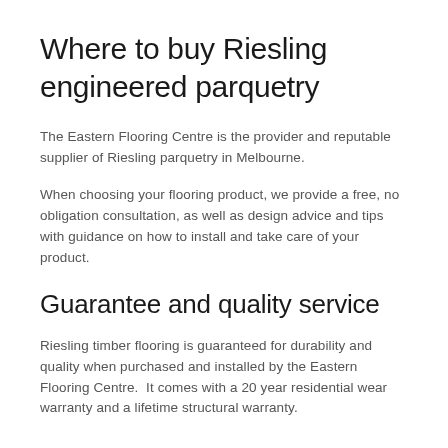Where to buy Riesling engineered parquetry
The Eastern Flooring Centre is the provider and reputable supplier of Riesling parquetry in Melbourne.
When choosing your flooring product, we provide a free, no obligation consultation, as well as design advice and tips with guidance on how to install and take care of your product.
Guarantee and quality service
Riesling timber flooring is guaranteed for durability and quality when purchased and installed by the Eastern Flooring Centre.  It comes with a 20 year residential wear warranty and a lifetime structural warranty.